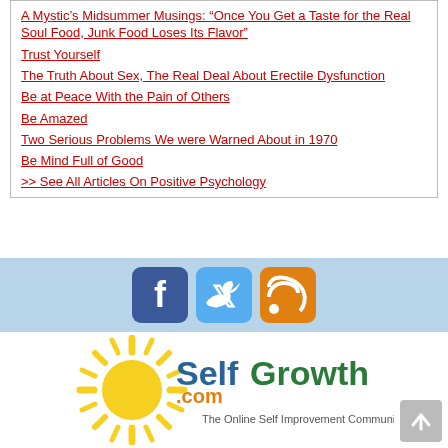A Mystic's Midsummer Musings: “Once You Get a Taste for the Real Soul Food, Junk Food Loses Its Flavor”
Trust Yourself
The Truth About Sex, The Real Deal About Erectile Dysfunction
Be at Peace With the Pain of Others
Be Amazed
Two Serious Problems We were Warned About in 1970
Be Mind Full of Good
>> See All Articles On Positive Psychology
[Figure (logo): Social media icons: Facebook (blue), Twitter (light blue), RSS (orange)]
[Figure (logo): SelfGrowth.com logo — sun graphic with text SelfGrowth.com and tagline The Online Self Improvement Community]